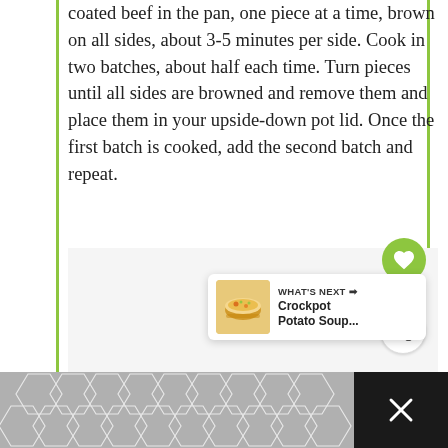coated beef in the pan, one piece at a time, brown on all sides, about 3-5 minutes per side. Cook in two batches, about half each time. Turn pieces until all sides are browned and remove them and place them in your upside-down pot lid. Once the first batch is cooked, add the second batch and repeat.
[Figure (photo): Food/recipe image area (partially visible, appears blank/loading)]
[Figure (infographic): Heart/like button (green circle with heart icon), count 49, and share button]
WHAT'S NEXT → Crockpot Potato Soup...
[Figure (infographic): Bottom advertisement bar with hexagonal pattern and close (X) button]